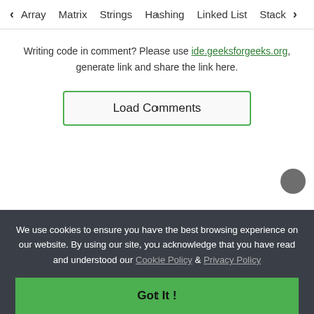< Array  Matrix  Strings  Hashing  Linked List  Stack >
Writing code in comment? Please use ide.geeksforgeeks.org, generate link and share the link here.
Load Comments
We use cookies to ensure you have the best browsing experience on our website. By using our site, you acknowledge that you have read and understood our Cookie Policy & Privacy Policy
Got It !